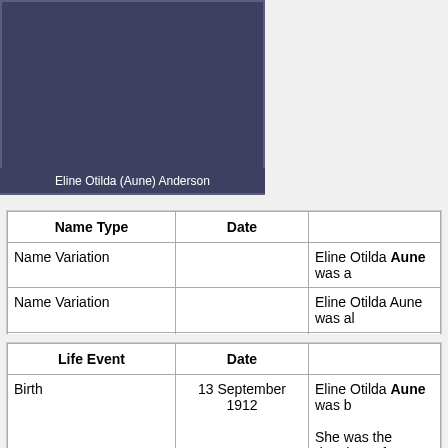[Figure (photo): Dark gray/navy portrait photo placeholder for Eline Otilda (Aune) Anderson]
Eline Otilda (Aune) Anderson
| Name Type | Date |  |
| --- | --- | --- |
| Name Variation |  | Eline Otilda Aune was a |
| Name Variation |  | Eline Otilda Aune was al |
| Married Name | 17 December 1938 | As of 17 December 1938 |
| Life Event | Date |  |
| --- | --- | --- |
| Birth | 13 September 1912 | Eline Otilda Aune was b
She was the daughter of |
| Marriage | 17 December 1938 | Eline Otilda Aune marrie Josefina Stoen, on 17 D |